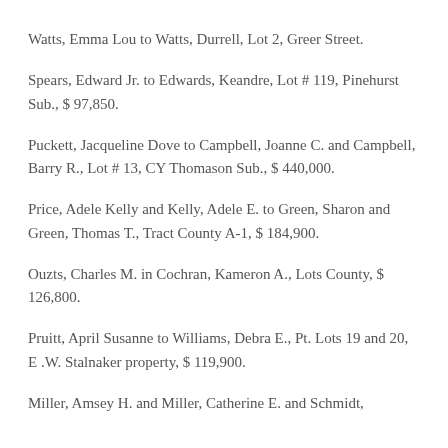Watts, Emma Lou to Watts, Durrell, Lot 2, Greer Street.
Spears, Edward Jr. to Edwards, Keandre, Lot # 119, Pinehurst Sub., $ 97,850.
Puckett, Jacqueline Dove to Campbell, Joanne C. and Campbell, Barry R., Lot # 13, CY Thomason Sub., $ 440,000.
Price, Adele Kelly and Kelly, Adele E. to Green, Sharon and Green, Thomas T., Tract County A-1, $ 184,900.
Ouzts, Charles M. in Cochran, Kameron A., Lots County, $ 126,800.
Pruitt, April Susanne to Williams, Debra E., Pt. Lots 19 and 20, E .W. Stalnaker property, $ 119,900.
Miller, Amsey H. and Miller, Catherine E. and Schmidt,